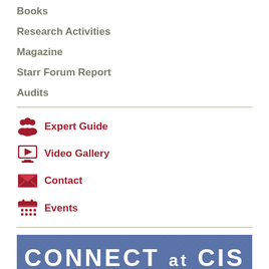Books
Research Activities
Magazine
Starr Forum Report
Audits
Expert Guide
Video Gallery
Contact
Events
[Figure (illustration): Blue banner with white bold text reading CONNECT at CIS]